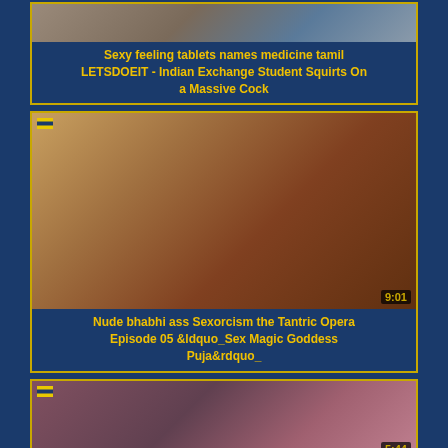[Figure (screenshot): Video thumbnail showing partial scene, top card]
Sexy feeling tablets names medicine tamil LETSDOEIT - Indian Exchange Student Squirts On a Massive Cock
[Figure (screenshot): Video thumbnail 9:01 duration, nude scene]
Nude bhabhi ass Sexorcism the Tantric Opera Episode 05 &ldquo_Sex Magic Goddess Puja&rdquo_
[Figure (screenshot): Video thumbnail 5:44 duration, partial scene]